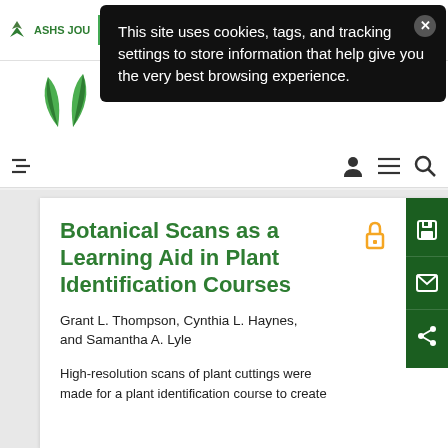[Figure (screenshot): Cookie consent popup over ASHS Journal website header with text: This site uses cookies, tags, and tracking settings to store information that help give you the very best browsing experience.]
ASHS JOU
Botanical Scans as a Learning Aid in Plant Identification Courses
Grant L. Thompson, Cynthia L. Haynes, and Samantha A. Lyle
High-resolution scans of plant cuttings were made for a plant identification course to create